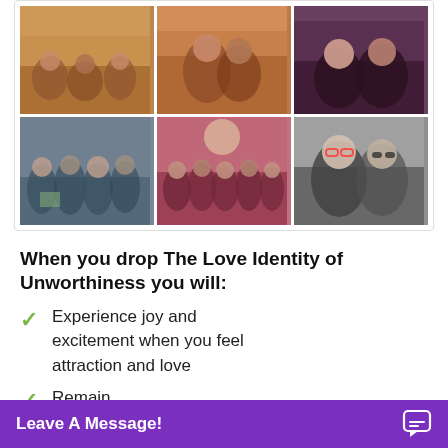[Figure (photo): 3x2 grid of personal photos showing groups of people at various social gatherings and events]
When you drop The Love Identity of Unworthiness you will:
Experience joy and excitement when you feel attraction and love
Remain...
Leave A Message!